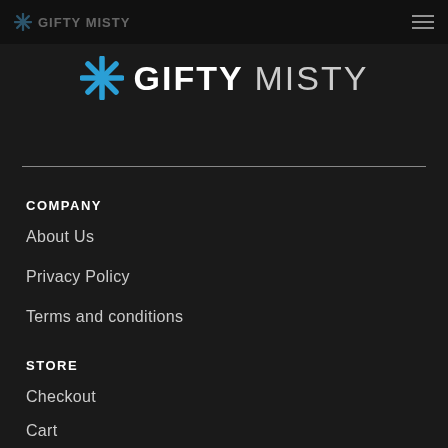GIFTY MISTY
[Figure (logo): Gifty Misty logo with blue snowflake/asterisk icon and text GIFTY MISTY]
COMPANY
About Us
Privacy Policy
Terms and conditions
STORE
Checkout
Cart